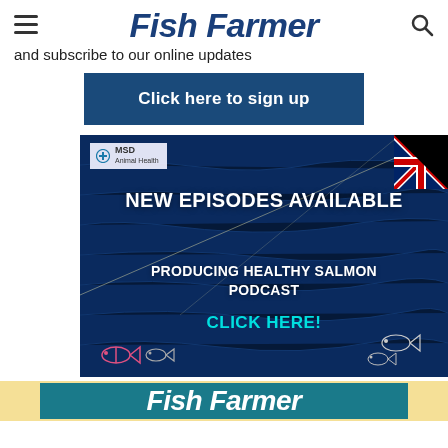Fish Farmer
and subscribe to our online updates
Click here to sign up
[Figure (advertisement): MSD Animal Health advertisement for 'Producing Healthy Salmon Podcast' with text 'NEW EPISODES AVAILABLE', 'PRODUCING HEALTHY SALMON PODCAST', 'CLICK HERE!' over an ocean background with fish icons and UK flag]
[Figure (advertisement): Fish Farmer magazine banner advertisement, partially visible at bottom of page]